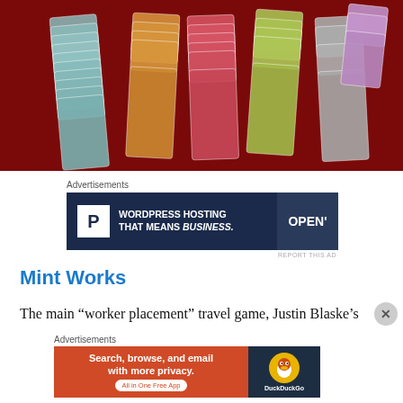[Figure (photo): Board game cards spread out on a dark red table, showing various colorful cards from what appears to be the Mint Works game, with teal, orange, pink, yellow-green, and purple colored cards arranged in fan formations]
Advertisements
[Figure (screenshot): Advertisement banner: 'WORDPRESS HOSTING THAT MEANS BUSINESS.' with a P icon on the left and an OPEN sign photo on the right, dark navy blue background]
REPORT THIS AD
Mint Works
The main “worker placement” travel game, Justin Blaske’s
Advertisements
[Figure (screenshot): Advertisement banner for DuckDuckGo: 'Search, browse, and email with more privacy. All in One Free App' on orange background, with DuckDuckGo logo on dark right side]
REPORT THIS AD